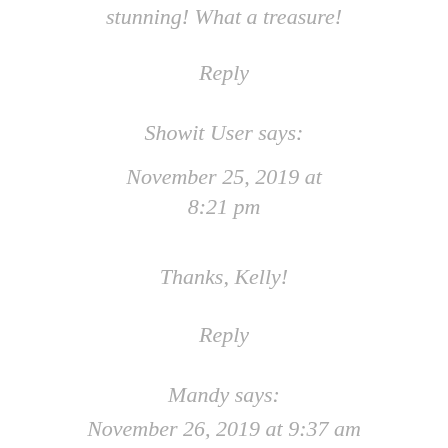stunning! What a treasure!
Reply
Showit User says:
November 25, 2019 at 8:21 pm
Thanks, Kelly!
Reply
Mandy says:
November 26, 2019 at 9:37 am